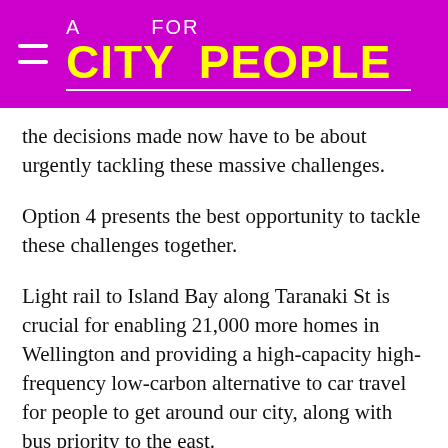A CITY FOR PEOPLE
the decisions made now have to be about urgently tackling these massive challenges.
Option 4 presents the best opportunity to tackle these challenges together.
Light rail to Island Bay along Taranaki St is crucial for enabling 21,000 more homes in Wellington and providing a high-capacity high-frequency low-carbon alternative to car travel for people to get around our city, along with bus priority to the east.
Other proposals for new tunnelling at the Basin